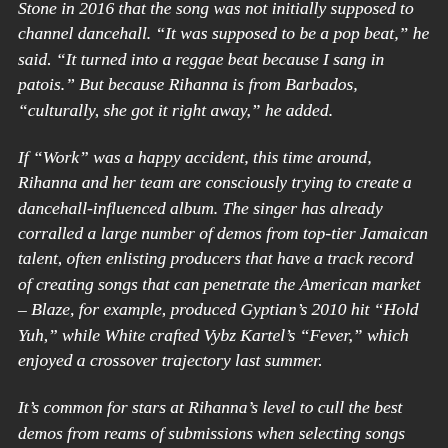Stone in 2016 that the song was not initially supposed to channel dancehall. “It was supposed to be a pop beat,” he said. “It turned into a reggae beat because I sang in patois.” But because Rihanna is from Barbados, “culturally, she got it right away,” he added.
If “Work” was a happy accident, this time around, Rihanna and her team are consciously trying to create a dancehall-influenced album. The singer has already corralled a large number of demos from top-tier Jamaican talent, often enlisting producers that have a track record of creating songs that can penetrate the American market – Blaze, for example, produced Gyptian’s 2010 hit “Hold Yuh,” while White crafted Vybz Kartel’s “Fever,” which enjoyed a crossover trajectory last summer.
It’s common for stars at Rihanna’s level to cull the best demos from reams of submissions when selecting songs